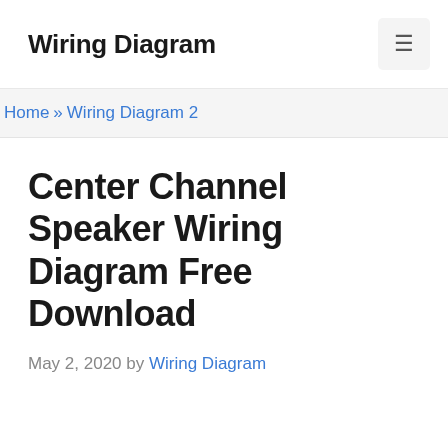Wiring Diagram
Home » Wiring Diagram 2
Center Channel Speaker Wiring Diagram Free Download
May 2, 2020 by Wiring Diagram